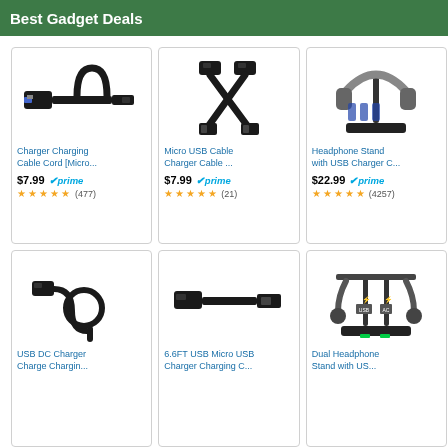Best Gadget Deals
[Figure (screenshot): Grid of 6 product cards: USB/charging cables and headphone stands with prices and Amazon Prime badges]
Charger Charging Cable Cord [Micro... $7.99 prime ★★★★½ (477)
Micro USB Cable Charger Cable ... $7.99 prime ★★★★★ (21)
Headphone Stand with USB Charger C... $22.99 prime ★★★★½ (4257)
USB DC Charger Charge Chargin...
6.6FT USB Micro USB Charger Charging C...
Dual Headphone Stand with US...